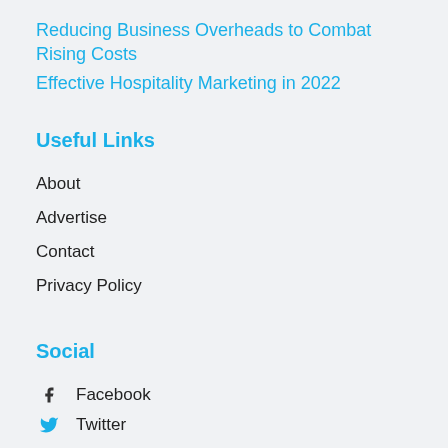Reducing Business Overheads to Combat Rising Costs
Effective Hospitality Marketing in 2022
Useful Links
About
Advertise
Contact
Privacy Policy
Social
Facebook
Twitter